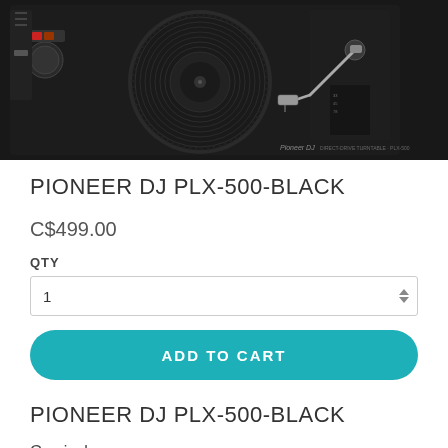[Figure (photo): Pioneer DJ PLX-500-BLACK turntable product photo, top-down view showing the black turntable platter, tonearm, and control knobs against a dark background.]
PIONEER DJ PLX-500-BLACK
C$499.00
QTY
1
ADD TO CART
PIONEER DJ PLX-500-BLACK
Go vinyl